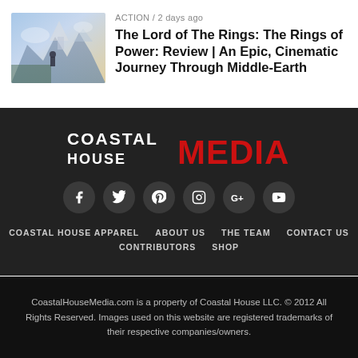ACTION / 2 days ago
The Lord of The Rings: The Rings of Power: Review | An Epic, Cinematic Journey Through Middle-Earth
[Figure (illustration): A fantasy scene showing a figure overlooking a dramatic landscape with a castle in the background — thumbnail image for the article]
[Figure (logo): Coastal House Media logo — COASTAL HOUSE in white bold text, MEDIA in large red bold text]
[Figure (infographic): Six social media icon buttons (Facebook, Twitter, Pinterest, Instagram, Google+, YouTube) in dark circular buttons]
COASTAL HOUSE APPAREL
ABOUT US
THE TEAM
CONTACT US
CONTRIBUTORS
SHOP
CoastalHouseMedia.com is a property of Coastal House LLC. © 2012 All Rights Reserved. Images used on this website are registered trademarks of their respective companies/owners.